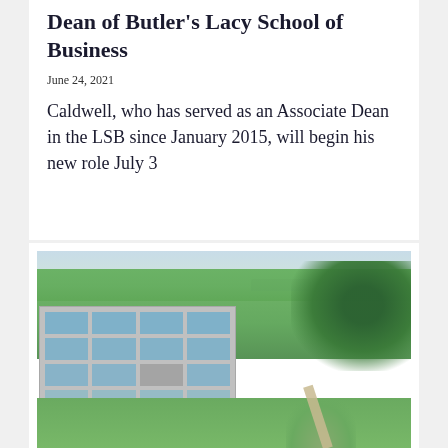Dean of Butler's Lacy School of Business
June 24, 2021
Caldwell, who has served as an Associate Dean in the LSB since January 2015, will begin his new role July 3
[Figure (photo): Aerial view of Butler University campus showing the Lacy School of Business building in the foreground with green trees and lawns surrounding it and city skyline in the far background]